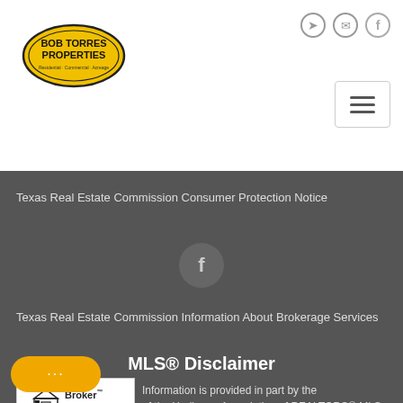[Figure (logo): Bob Torres Properties oval logo, yellow/gold background with black text]
[Figure (illustration): Navigation icons: login, email, Facebook in top right header]
[Figure (illustration): Hamburger menu button top right]
Texas Real Estate Commission Consumer Protection Notice
[Figure (illustration): Facebook circular icon in dark footer]
Texas Real Estate Commission Information About Brokerage Services
MLS® Disclaimer
[Figure (illustration): Broker Reciprocity logo - white background with house/broker icon and text]
Information is provided in part by the of the Harlingen Association of REALTORS® MLS. on provided is deemed reliable but is not guaranteed and should be independently verified.
[Figure (illustration): Yellow chat bubble button with ellipsis dots]